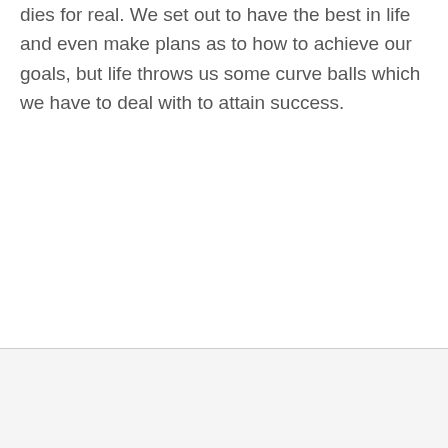dies for real. We set out to have the best in life and even make plans as to how to achieve our goals, but life throws us some curve balls which we have to deal with to attain success.
[Figure (other): Advertisement area with close (X) button in top-right corner]